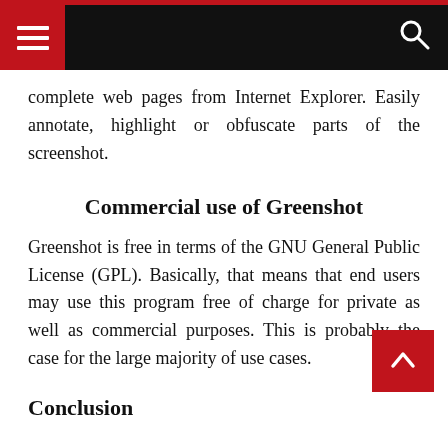complete web pages from Internet Explorer. Easily annotate, highlight or obfuscate parts of the screenshot.
Commercial use of Greenshot
Greenshot is free in terms of the GNU General Public License (GPL). Basically, that means that end users may use this program free of charge for private as well as commercial purposes. This is probably the case for the large majority of use cases.
Conclusion